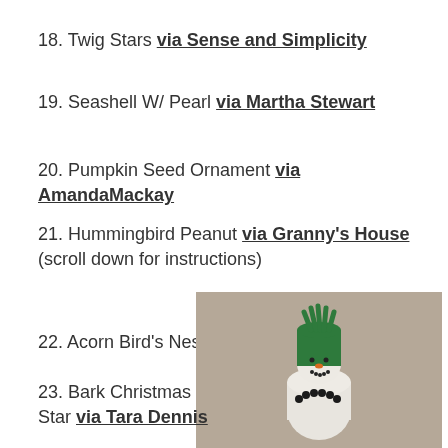18. Twig Stars via Sense and Simplicity
19. Seashell W/ Pearl via Martha Stewart
20. Pumpkin Seed Ornament via AmandaMackay
21. Hummingbird Peanut via Granny's House (scroll down for instructions)
22. Acorn Bird's Nest via Twig and Toadstool
[Figure (photo): Photo of a bark christmas star ornament resembling a snowman wearing a green knit hat and dark beaded necklace]
23. Bark Christmas Star via Tara Dennis